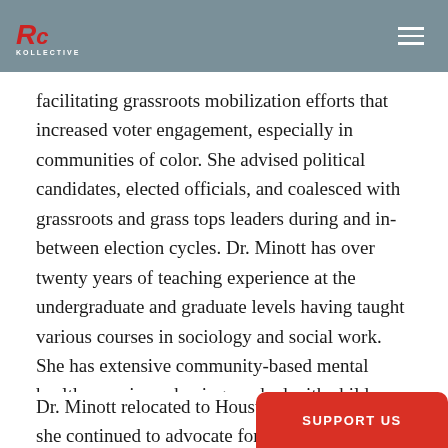RC Kollective logo and navigation
facilitating grassroots mobilization efforts that increased voter engagement, especially in communities of color. She advised political candidates, elected officials, and coalesced with grassroots and grass tops leaders during and in-between election cycles. Dr. Minott has over twenty years of teaching experience at the undergraduate and graduate levels having taught various courses in sociology and social work. She has extensive community-based mental health experience having worked with children and their families. She has received numerous awards for her community activism work.
Dr. Minott relocated to Houston, T she continued to advocate for th